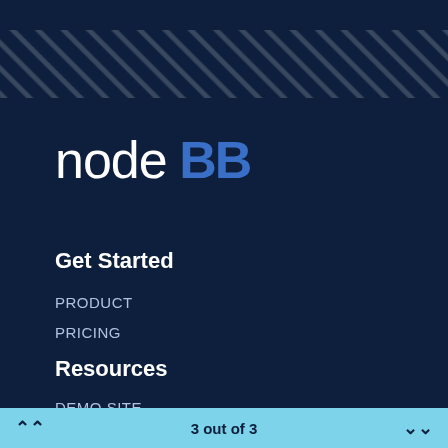[Figure (logo): NodeBB logo — 'node' in white light text and 'BB' in blue bold text]
Get Started
PRODUCT
PRICING
Resources
DEMO SITE
ANSWERS
3 out of 3